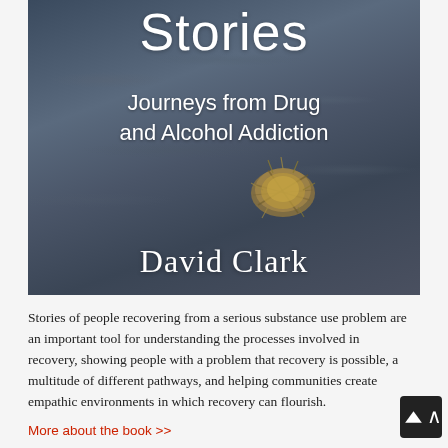[Figure (illustration): Book cover for 'Stories: Journeys from Drug and Alcohol Addiction' by David Clark. Dark blue-gray sandy background with footprints and a tumbleweed in the center. Large white text reads 'Stories' at the top, subtitle 'Journeys from Drug and Alcohol Addiction' in the middle, and author name 'David Clark' at the bottom.]
Stories of people recovering from a serious substance use problem are an important tool for understanding the processes involved in recovery, showing people with a problem that recovery is possible, a multitude of different pathways, and helping communities create empathic environments in which recovery can flourish.
More about the book >>